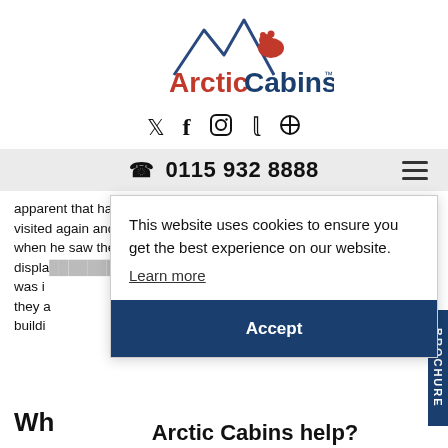[Figure (logo): ArcticCabins logo with mountain peaks in blue and a red bear silhouette, text 'ArcticCabins' with 'Arctic' in red and 'Cabins' in dark blue, trademark symbol]
[Figure (infographic): Social media icons: Twitter bird, Facebook f, Instagram camera, Pinterest p, Search magnifier]
📞 0115 932 8888
apparent that having a garden building was financially a reality, I visited again and loved what I saw. My partner wasn't interested but when he saw the pictures I'd taken of the BBQ Cabins on display they a buildi
This website uses cookies to ensure you get the best experience on our website.
Learn more
Accept
Wh
Arctic Cabins help?